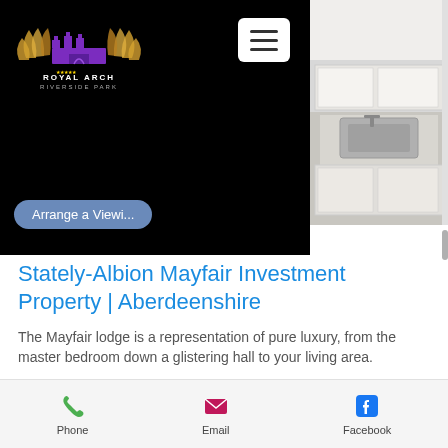[Figure (logo): Royal Arch Riverside Park logo with wings and castle emblem, white and gold/purple text on black background]
[Figure (photo): Kitchen photo showing white cabinetry and sink]
Arrange a Viewi...
Stately-Albion Mayfair Investment Property | Aberdeenshire
The Mayfair lodge is a representation of pure luxury, from the master bedroom down a glistering hall to your living area.
The lodge features a fully equipped kitchen, with a classical Range
Phone   Email   Facebook